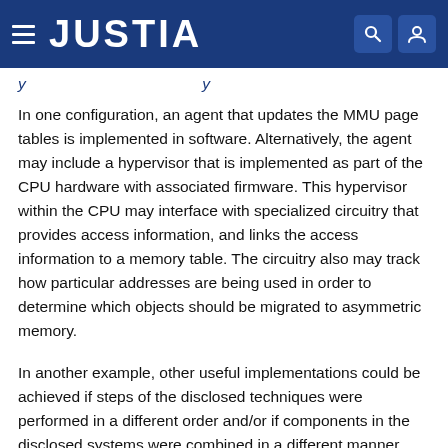JUSTIA
In one configuration, an agent that updates the MMU page tables is implemented in software. Alternatively, the agent may include a hypervisor that is implemented as part of the CPU hardware with associated firmware. This hypervisor within the CPU may interface with specialized circuitry that provides access information, and links the access information to a memory table. The circuitry also may track how particular addresses are being used in order to determine which objects should be migrated to asymmetric memory.
In another example, other useful implementations could be achieved if steps of the disclosed techniques were performed in a different order and/or if components in the disclosed systems were combined in a different manner and/or replaced or supplemented by other